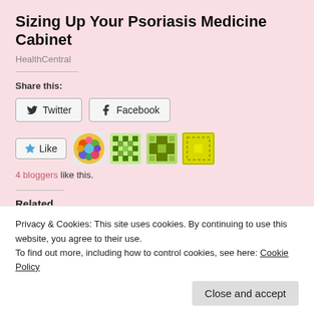Sizing Up Your Psoriasis Medicine Cabinet
HealthCentral
Share this:
Twitter  Facebook
Like
4 bloggers like this.
Related
Quarantine life
Life has changed for
Privacy & Cookies: This site uses cookies. By continuing to use this website, you agree to their use.
To find out more, including how to control cookies, see here: Cookie Policy
Close and accept